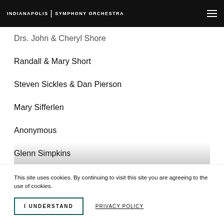Indianapolis Symphony Orchestra
Drs. John & Cheryl Shore
Randall & Mary Short
Steven Sickles & Dan Pierson
Mary Sifferlen
Anonymous
Glenn Simpkins
This site uses cookies. By continuing to visit this site you are agreeing to the use of cookies.
I UNDERSTAND
PRIVACY POLICY